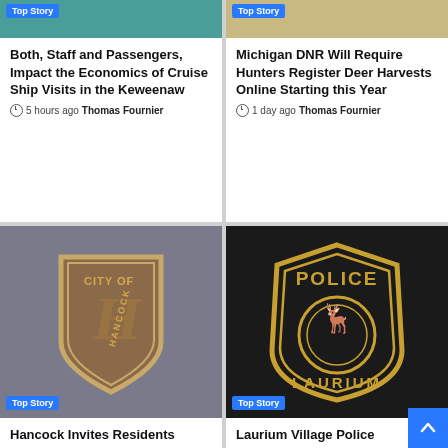[Figure (photo): Teal/green image top crop with Top Story badge]
Both, Staff and Passengers, Impact the Economics of Cruise Ship Visits in the Keweenaw
5 hours ago  Thomas Fournier
[Figure (photo): Sandy/tan image top crop with Top Story badge]
Michigan DNR Will Require Hunters Register Deer Harvests Online Starting this Year
1 day ago  Thomas Fournier
[Figure (photo): City of Hancock Michigan shield badge/pin photo with Top Story badge]
Hancock Invites Residents
[Figure (photo): Laurium Village Police patch photo with Top Story badge]
Laurium Village Police